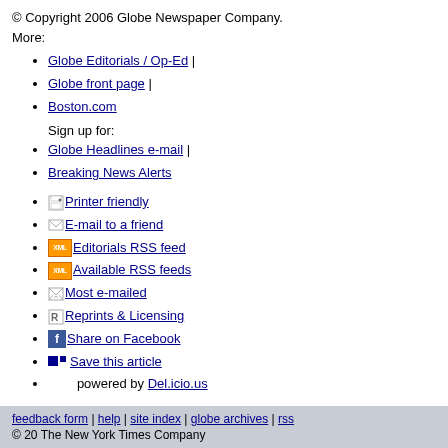© Copyright 2006 Globe Newspaper Company.
More:
Globe Editorials / Op-Ed |
Globe front page |
Boston.com
Sign up for:
Globe Headlines e-mail |
Breaking News Alerts
Printer friendly
E-mail to a friend
Editorials RSS feed
Available RSS feeds
Most e-mailed
Reprints & Licensing
Share on Facebook
Save this article
powered by Del.icio.us
feedback form | help | site index | globe archives | rss
© 20 The New York Times Company